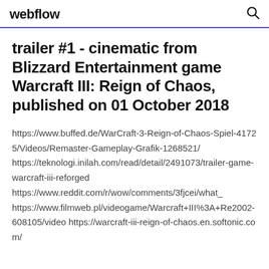webflow
trailer #1 - cinematic from Blizzard Entertainment game Warcraft III: Reign of Chaos, published on 01 October 2018
https://www.buffed.de/WarCraft-3-Reign-of-Chaos-Spiel-41725/Videos/Remaster-Gameplay-Grafik-1268521/ https://teknologi.inilah.com/read/detail/2491073/trailer-game-warcraft-iii-reforged https://www.reddit.com/r/wow/comments/3fjcei/what_ https://www.filmweb.pl/videogame/Warcraft+III%3A+Re2002-608105/video https://warcraft-iii-reign-of-chaos.en.softonic.com/